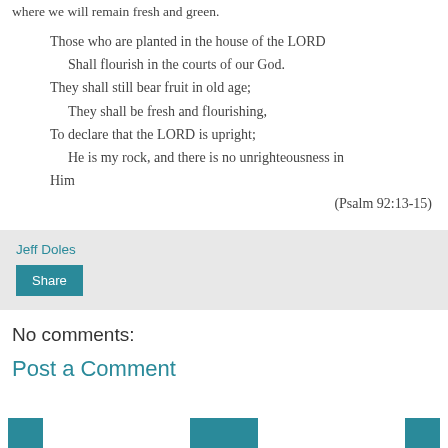where we will remain fresh and green.
Those who are planted in the house of the LORD
  Shall flourish in the courts of our God.
They shall still bear fruit in old age;
  They shall be fresh and flourishing,
To declare that the LORD is upright;
  He is my rock, and there is no unrighteousness in Him
(Psalm 92:13-15)
Jeff Doles
Share
No comments:
Post a Comment